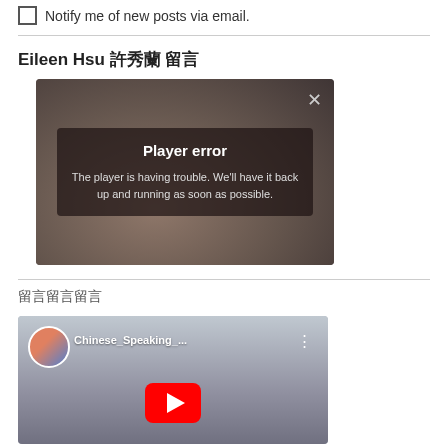Notify me of new posts via email.
Eileen Hsu 許秀蘭 留言
[Figure (screenshot): Video player error overlay showing 'Player error' and message 'The player is having trouble. We'll have it back up and running as soon as possible.' over a blurred image of a woman.]
留言留言留言
[Figure (screenshot): YouTube video thumbnail titled 'Chinese_Speaking_...' with a play button and channel avatar showing two people.]